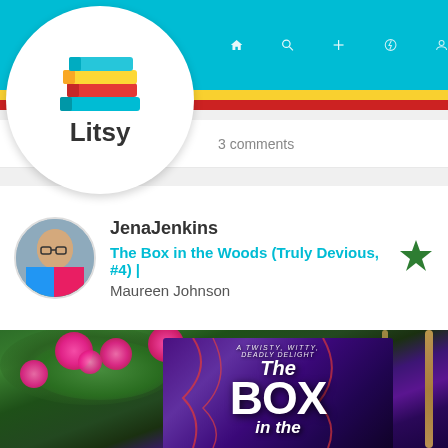[Figure (screenshot): Litsy app navigation bar with teal background, home, search, add, activity and profile icons, with Litsy logo in white circle, yellow and red accent stripes]
3 comments
[Figure (photo): User avatar photo of a person with glasses and colorful outfit]
JenaJenkins
The Box in the Woods (Truly Devious, #4) | Maureen Johnson
[Figure (photo): Photo of the book 'The Box in the Woods' by Maureen Johnson resting in a wicker chair surrounded by pink petunia flowers and green foliage. Book cover shows purple/dark colors with title text visible.]